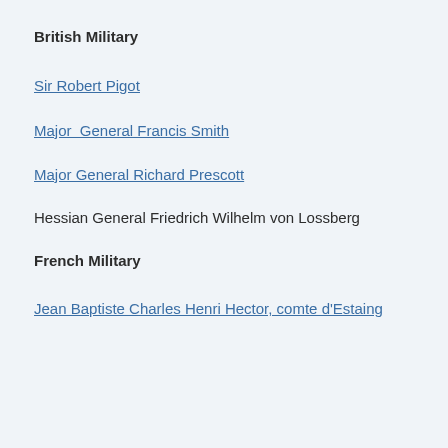British Military
Sir Robert Pigot
Major  General Francis Smith
Major General Richard Prescott
Hessian General Friedrich Wilhelm von Lossberg
French Military
Jean Baptiste Charles Henri Hector, comte d'Estaing